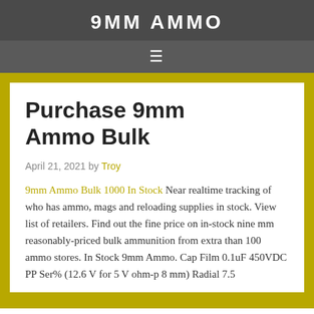9MM AMMO
Purchase 9mm Ammo Bulk
April 21, 2021 by Troy
9mm Ammo Bulk 1000 In Stock Near realtime tracking of who has ammo, mags and reloading supplies in stock. View list of retailers. Find out the fine price on in-stock nine mm reasonably-priced bulk ammunition from extra than 100 ammo stores. In Stock 9mm Ammo. Cap Film 0.1uF 450VDC PP Ser% (12.6 V for 5 V ohm-p 8 mm) Radial 7.5